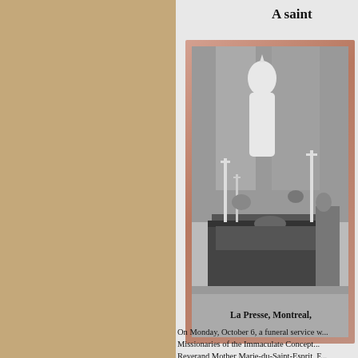A saint
[Figure (photo): Black and white photograph of a chapel or mortuary setting with a statue of the Virgin Mary in white, candles, crosses, and a person (nun) lying in state on a dark draped bier.]
La Presse, Montreal,
On Monday, October 6, a funeral service w... Missionaries of the Immaculate Concept... Reverand Mother Marie-du-Saint-Esprit, F... congregation of Canadian origin. The dece... in the county of Rouville. She was 76 years...